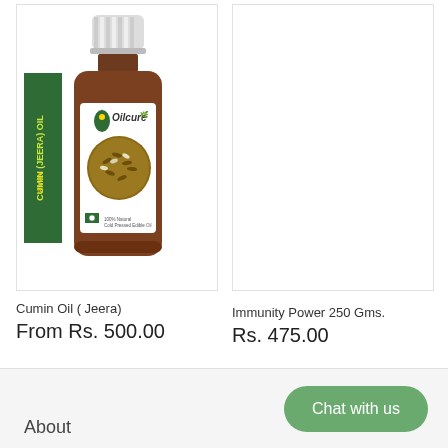[Figure (photo): Oilcure brand Cumin (Jeera) Oil small brown glass bottle with white cap and green label showing seeds]
Cumin Oil ( Jeera)
From Rs. 500.00
[Figure (photo): Empty white product image placeholder for Immunity Power 250 Gms.]
Immunity Power 250 Gms.
Rs. 475.00
Chat with us
About